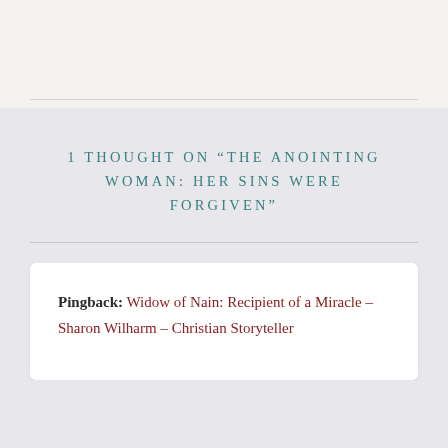1 THOUGHT ON “THE ANOINTING WOMAN: HER SINS WERE FORGIVEN”
Pingback: Widow of Nain: Recipient of a Miracle – Sharon Wilharm – Christian Storyteller